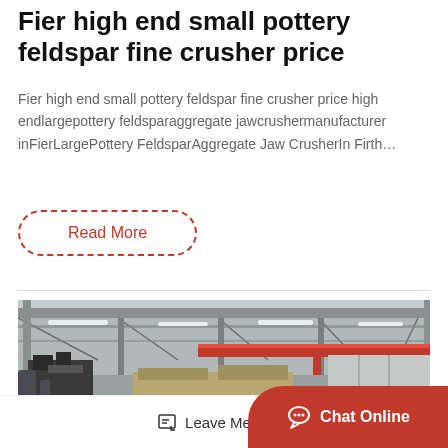Fier high end small pottery feldspar fine crusher price
Fier high end small pottery feldspar fine crusher price high endlargepottery feldsparaggregate jawcrushermanufacturer inFierLargePottery FeldsparAggregate Jaw CrusherIn Firth…
Read More
[Figure (photo): Industrial factory interior showing a large manufacturing facility with overhead cranes (red girder), steel roof structure, fluorescent lighting, heavy machinery and equipment on the factory floor.]
Leave Message
Chat Online